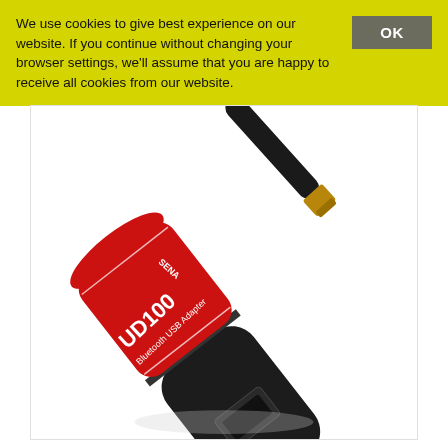We use cookies to give best experience on our website. If you continue without changing your browser settings, we'll assume that you are happy to receive all cookies from our website.
[Figure (photo): A Sena UD100 Bluetooth USB Adapter dongle. The device has a black USB connector body and a red upper section labeled 'UD100 Bluetooth USB Adapter' with white text. A black cylindrical antenna with a gold connector is attached to the top of the red section, angled upward to the right.]